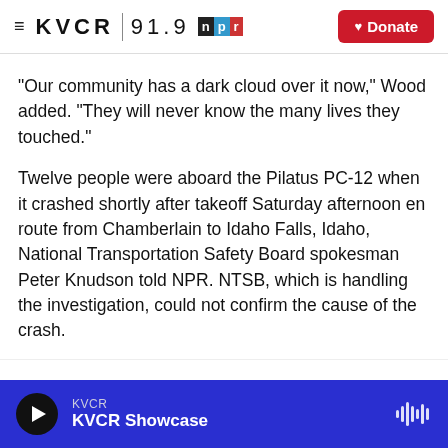KVCR 91.9 NPR | Donate
"Our community has a dark cloud over it now," Wood added. "They will never know the many lives they touched."
Twelve people were aboard the Pilatus PC-12 when it crashed shortly after takeoff Saturday afternoon en route from Chamberlain to Idaho Falls, Idaho, National Transportation Safety Board spokesman Peter Knudson told NPR. NTSB, which is handling the investigation, could not confirm the cause of the crash.
KVCR | KVCR Showcase